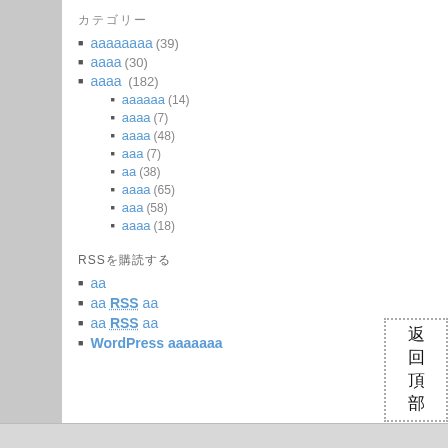カテゴリー
aaaaaaaa (39)
aaaa (30)
aaaa (182)
aaaaaa (14)
aaaa (7)
aaaa (48)
aaa (7)
aa (38)
aaaa (65)
aaa (58)
aaaa (18)
RSSを購読する
aa
aa RSS aa
aa RSS aa
WordPress aaaaaaa
[Figure (other): 返回頂部 button in bottom right corner]